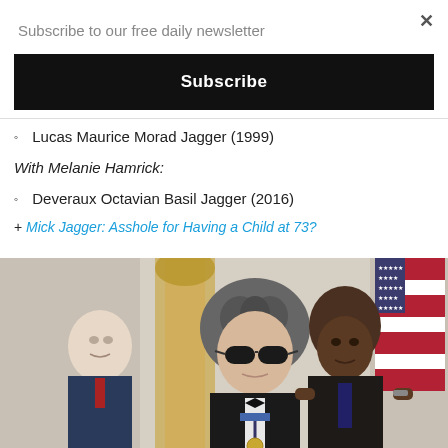Subscribe to our free daily newsletter
Subscribe
Lucas Maurice Morad Jagger (1999)
With Melanie Hamrick:
Deveraux Octavian Basil Jagger (2016)
+ Mick Jagger: Asshole for Having a Child at 73?
[Figure (photo): Photo of a man wearing sunglasses receiving a medal from Barack Obama at a formal ceremony, with another older man visible in the background and an American flag.]